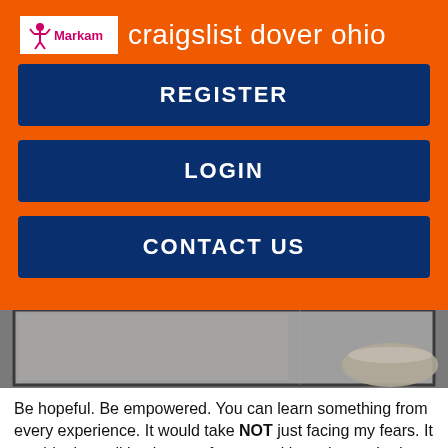craigslist dover ohio
[Figure (logo): Markam logo: a stylized figure icon with the word Markam]
REGISTER
LOGIN
CONTACT US
[Figure (photo): Partial photo showing a dark framed surface with a ceramic bowl on the right side, gray background]
Be hopeful. Be empowered. You can learn something from every experience. It would take NOT just facing my fears. It would take walking into my fears — with each step Lady wants nsa Lake Guntersville me bolder and less ashamed, with each step giving me courage.